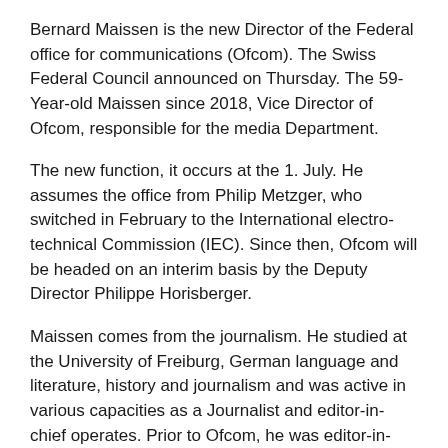Bernard Maissen is the new Director of the Federal office for communications (Ofcom). The Swiss Federal Council announced on Thursday. The 59-Year-old Maissen since 2018, Vice Director of Ofcom, responsible for the media Department.
The new function, it occurs at the 1. July. He assumes the office from Philip Metzger, who switched in February to the International electro-technical Commission (IEC). Since then, Ofcom will be headed on an interim basis by the Deputy Director Philippe Horisberger.
Maissen comes from the journalism. He studied at the University of Freiburg, German language and literature, history and journalism and was active in various capacities as a Journalist and editor-in-chief operates. Prior to Ofcom, he was editor-in-chief and member of the Executive Board of Schweizerische Depeschenagentur (SDA).